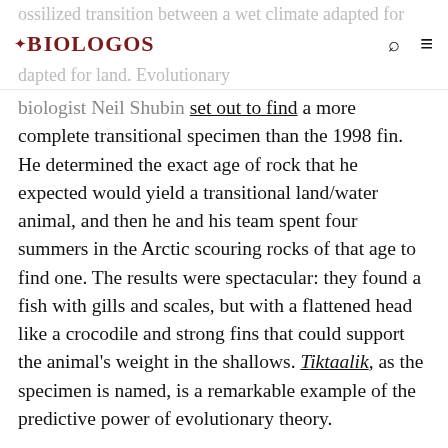BioLogos
biologist Neil Shubin set out to find a more complete transitional specimen than the 1998 fin. He determined the exact age of rock that he expected would yield a transitional land/water animal, and then he and his team spent four summers in the Arctic scouring rocks of that age to find one. The results were spectacular: they found a fish with gills and scales, but with a flattened head like a crocodile and strong fins that could support the animal's weight in the shallows. Tiktaalik, as the specimen is named, is a remarkable example of the predictive power of evolutionary theory.
Fossils tell us about God